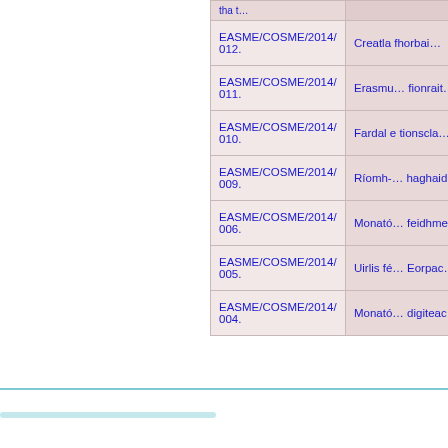| Reference | Description |
| --- | --- |
| EASME/COSME/2014/012. | Creatlа fhorbai… |
| EASME/COSME/2014/011. | Erasmu… fionrait… |
| EASME/COSME/2014/010. | Fardal… tionscla… |
| EASME/COSME/2014/009. | Ríomh-… haghaid… |
| EASME/COSME/2014/006. | Monató… feidhme… |
| EASME/COSME/2014/005. | Uirlis fé… Eorpac… |
| EASME/COSME/2014/004. | Monató… digiteac… |